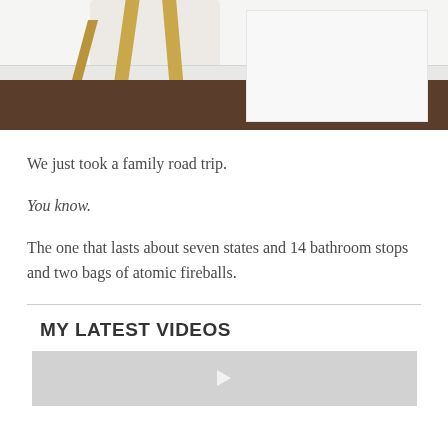[Figure (photo): Close-up photo of a chair with gold/brass legs on a dark hardwood floor against a white wall]
We just took a family road trip.
You know.
The one that lasts about seven states and 14 bathroom stops and two bags of atomic fireballs.
MY LATEST VIDEOS
[Figure (screenshot): Video thumbnail placeholder, light gray background]